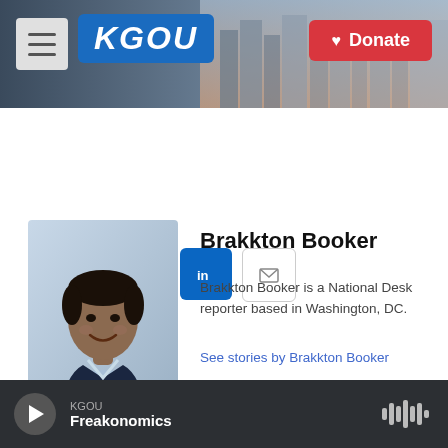[Figure (screenshot): KGOU radio station website header banner with city skyline background, hamburger menu button, KGOU logo in blue, and red Donate button]
[Figure (other): Social media sharing buttons: Facebook (blue), Twitter (blue), LinkedIn (blue), Email (white with border)]
[Figure (photo): Professional headshot of Brakkton Booker, a young man in a dark suit jacket and light blue shirt, smiling]
Brakkton Booker
Brakkton Booker is a National Desk reporter based in Washington, DC.
See stories by Brakkton Booker
KGOU Freakonomics